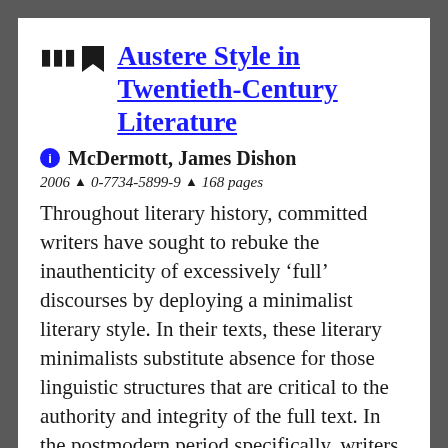Austere Style in Twentieth-Century Literature
McDermott, James Dishon
2006 ▲ 0-7734-5899-9 ▲ 168 pages
Throughout literary history, committed writers have sought to rebuke the inauthenticity of excessively 'full' discourses by deploying a minimalist literary style. In their texts, these literary minimalists substitute absence for those linguistic structures that are critical to the authority and integrity of the full text. In the postmodern period specifically, writers such as Ludwig Wittgenstein, Richard Brautigan, Raymond Carver, and David Mamet have used this literary style of contextualized fearlessness as a means of criticizing and reforming philosophical, literary, social, or